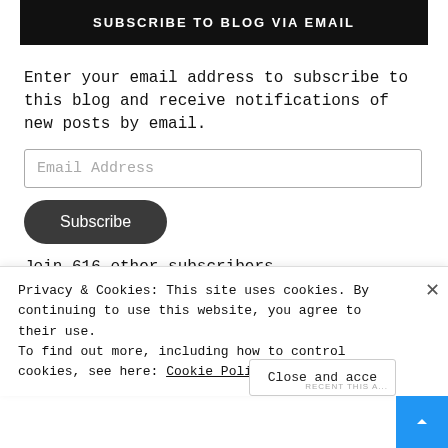SUBSCRIBE TO BLOG VIA EMAIL
Enter your email address to subscribe to this blog and receive notifications of new posts by email.
Join 616 other subscribers
NEWSLETTER
Privacy & Cookies: This site uses cookies. By continuing to use this website, you agree to their use.
To find out more, including how to control cookies, see here: Cookie Policy
Close and acce